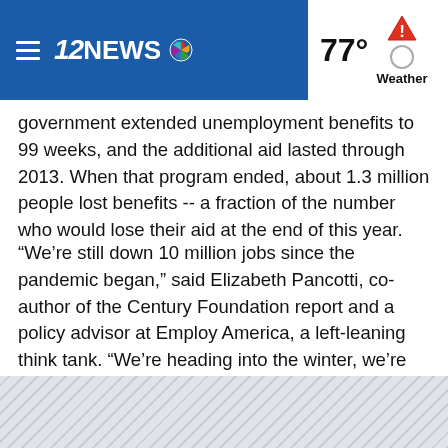12NEWS | 77° Weather
government extended unemployment benefits to 99 weeks, and the additional aid lasted through 2013. When that program ended, about 1.3 million people lost benefits -- a fraction of the number who would lose their aid at the end of this year.
“We’re still down 10 million jobs since the pandemic began,” said Elizabeth Pancotti, co-author of the Century Foundation report and a policy advisor at Employ America, a left-leaning think tank. “We’re heading into the winter, we’re seeing additional business closures, consumer demand is already falling…Cutting off benefits seems inhumane to me.”